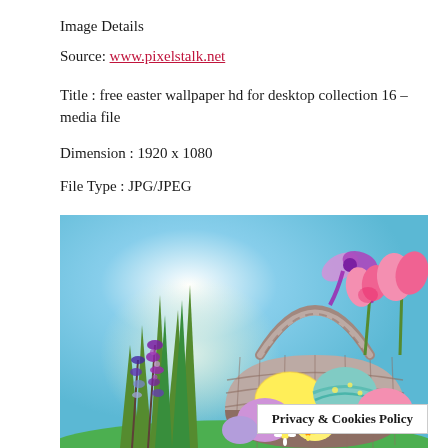Image Details
Source: www.pixelstalk.net
Title : free easter wallpaper hd for desktop collection 16 – media file
Dimension : 1920 x 1080
File Type : JPG/JPEG
[Figure (photo): Easter basket filled with colorful decorated eggs and pink tulips, with purple hyacinth flowers, set against a bright spring sky background. A purple ribbon bow adorns the basket handle.]
Privacy & Cookies Policy